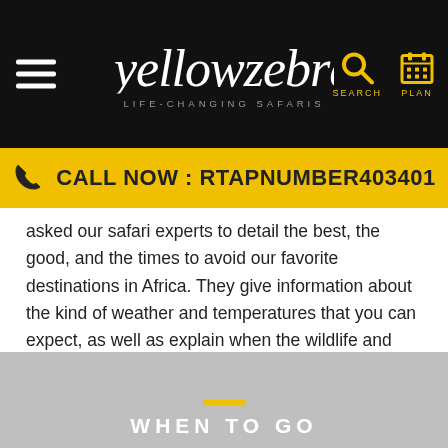[Figure (screenshot): Yellow Zebra Life-Changing Safaris website header with black navigation bar containing hamburger menu on the left, yellowzebra logo in center, and search and plan icons on the right]
CALL NOW : RTAPNUMBER403401
asked our safari experts to detail the best, the good, and the times to avoid our favorite destinations in Africa. They give information about the kind of weather and temperatures that you can expect, as well as explain when the wildlife and landscape will be at its best.
[Figure (photo): Grey placeholder image with yellow horizontal line and white text reading WHEN TO GO]